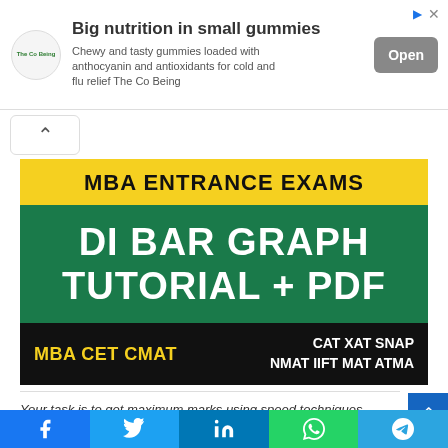[Figure (infographic): Advertisement banner: 'Big nutrition in small gummies' — Chewy and tasty gummies loaded with anthocyanin and antioxidants for cold and flu relief. The Co Being. Open button.]
[Figure (infographic): MBA Entrance Exams — DI BAR GRAPH TUTORIAL + PDF. MBA CET CMAT | CAT XAT SNAP NMAT IIFT MAT ATMA. Dark green background with yellow header and black footer.]
Your task is to get maximum marks using speed techniques
[Figure (infographic): Social share bar with Facebook, Twitter, LinkedIn, WhatsApp, and Telegram buttons]